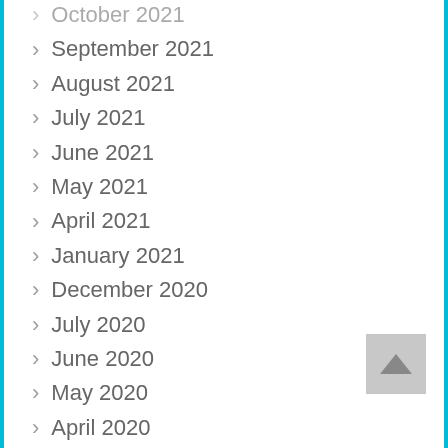> October 2021
> September 2021
> August 2021
> July 2021
> June 2021
> May 2021
> April 2021
> January 2021
> December 2020
> July 2020
> June 2020
> May 2020
> April 2020
> March 2020
> February 2020
> January 2020